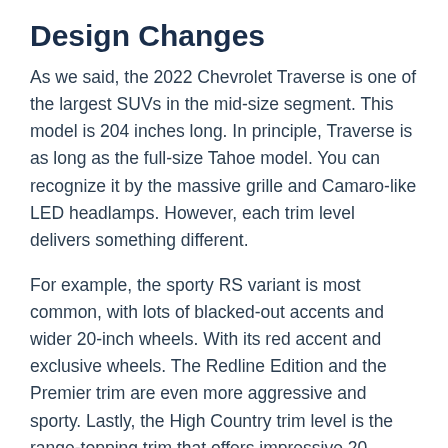Design Changes
As we said, the 2022 Chevrolet Traverse is one of the largest SUVs in the mid-size segment. This model is 204 inches long. In principle, Traverse is as long as the full-size Tahoe model. You can recognize it by the massive grille and Camaro-like LED headlamps. However, each trim level delivers something different.
For example, the sporty RS variant is most common, with lots of blacked-out accents and wider 20-inch wheels. With its red accent and exclusive wheels. The Redline Edition and the Premier trim are even more aggressive and sporty. Lastly, the High Country trim level is the range-topping trim that offers impressive 20…